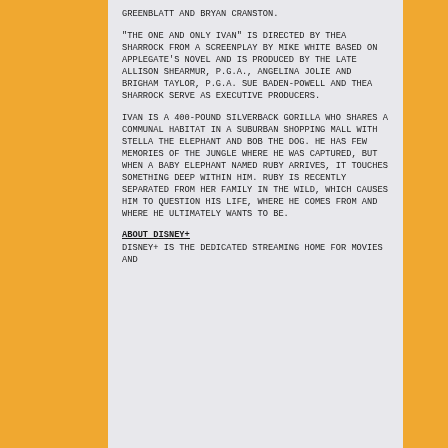Greenblatt and Bryan Cranston.
"The One and Only Ivan" is directed by Thea Sharrock from a screenplay by Mike White based on Applegate's novel and is produced by the late Allison Shearmur, p.g.a., Angelina Jolie and Brigham Taylor, p.g.a. Sue Baden-Powell and Thea Sharrock serve as executive producers.
Ivan is a 400-pound silverback gorilla who shares a communal habitat in a suburban shopping mall with Stella the elephant and Bob the dog. He has few memories of the jungle where he was captured, but when a baby elephant named Ruby arrives, it touches something deep within him. Ruby is recently separated from her family in the wild, which causes him to question his life, where he comes from and where he ultimately wants to be.
ABOUT DISNEY+
Disney+ is the dedicated streaming home for movies and